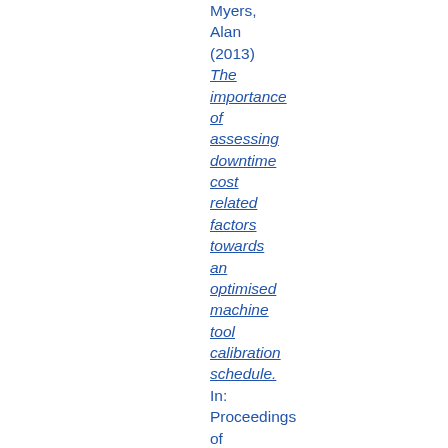Myers, Alan (2013) The importance of assessing downtime cost related factors towards an optimised machine tool calibration schedule. In: Proceedings of